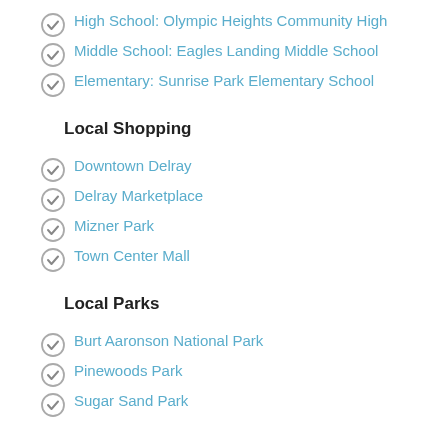High School: Olympic Heights Community High
Middle School: Eagles Landing Middle School
Elementary: Sunrise Park Elementary School
Local Shopping
Downtown Delray
Delray Marketplace
Mizner Park
Town Center Mall
Local Parks
Burt Aaronson National Park
Pinewoods Park
Sugar Sand Park